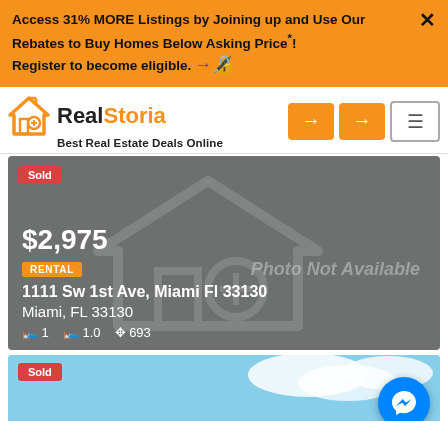Access 31% MORE Listings by Joining up and Use Our Rebates to Buy Homes Below Asking Price*! Register to become eligible.
[Figure (logo): RealStoria logo with house icon and tagline Best Real Estate Deals Online]
[Figure (screenshot): Listing card for 1111 Sw 1st Ave, Miami Fl 33130 showing $2,975 rental, Sold badge, 1 bed, 1.0 bath, 693 sqft, Photo Not Available placeholder]
[Figure (photo): Bottom listing card with blue sky, Sold badge visible]